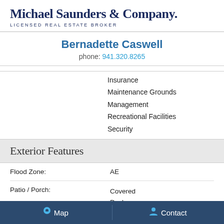Michael Saunders & Company. LICENSED REAL ESTATE BROKER
Bernadette Caswell
phone: 941.320.8265
Insurance
Maintenance Grounds
Management
Recreational Facilities
Security
Exterior Features
|  |  |
| --- | --- |
| Flood Zone: | AE |
| Patio / Porch: | Covered
Deck
Screened |
Map   Contact